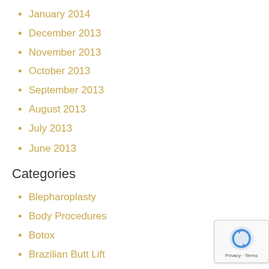January 2014
December 2013
November 2013
October 2013
September 2013
August 2013
July 2013
June 2013
Categories
Blepharoplasty
Body Procedures
Botox
Brazilian Butt Lift
Breast Augmentation
Breast Lift
Breast Reduction
Breast Revision
Chin Augmentation